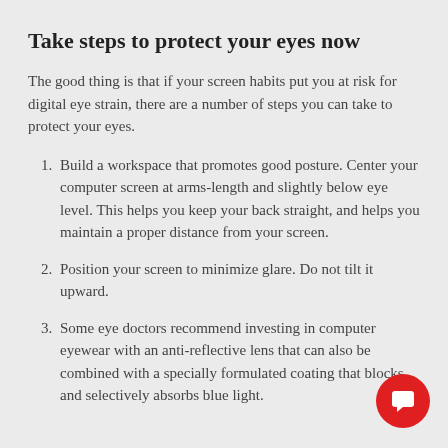Take steps to protect your eyes now
The good thing is that if your screen habits put you at risk for digital eye strain, there are a number of steps you can take to protect your eyes.
Build a workspace that promotes good posture. Center your computer screen at arms-length and slightly below eye level. This helps you keep your back straight, and helps you maintain a proper distance from your screen.
Position your screen to minimize glare. Do not tilt it upward.
Some eye doctors recommend investing in computer eyewear with an anti-reflective lens that can also be combined with a specially formulated coating that blocks and selectively absorbs blue light.